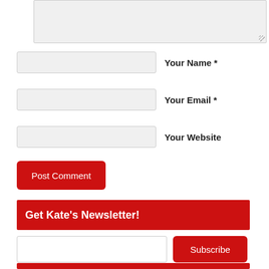[Figure (screenshot): Comment form textarea (partially visible, light gray background)]
Your Name *
Your Email *
Your Website
Post Comment
Get Kate's Newsletter!
Subscribe
[Figure (screenshot): Bottom red bar (partially visible)]